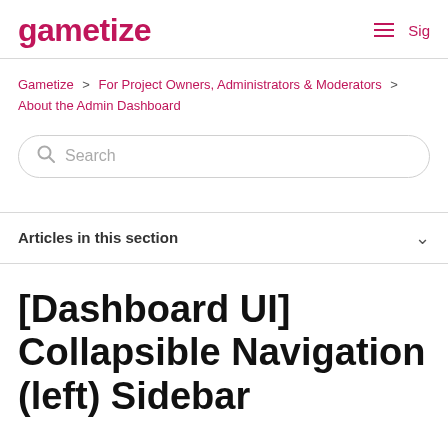gametize   ≡ Sig
Gametize > For Project Owners, Administrators & Moderators > About the Admin Dashboard
Search
Articles in this section
[Dashboard UI] Collapsible Navigation (left) Sidebar